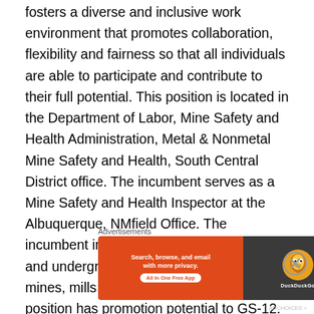fosters a diverse and inclusive work environment that promotes collaboration, flexibility and fairness so that all individuals are able to participate and contribute to their full potential. This position is located in the Department of Labor, Mine Safety and Health Administration, Metal & Nonmetal Mine Safety and Health, South Central District office. The incumbent serves as a Mine Safety and Health Inspector at the Albuquerque, NMfield Office. The incumbent inspects and investigate surface and underground metal and nonmetal mines, mills and related facilities. This position has promotion potential to GS-12. Promotion Potential: There is no obligation to provide future promotions to you if you are selected. Future promotions are dependent on your ability to perform the
Advertisements
[Figure (other): DuckDuckGo advertisement banner: orange left panel with text 'Search, browse, and email with more privacy. All in One Free App', dark right panel with DuckDuckGo owl logo.]